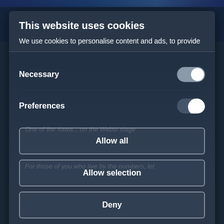[Figure (screenshot): Cookie consent modal dialog overlaying a dark-themed website. The modal has a dark blue-grey background with a title, body text, toggle switches for Necessary and Preferences, and three buttons: Allow all, Allow selection, Deny. Powered by Cookiebot by Usercentrics footer.]
This website uses cookies
We use cookies to personalise content and ads, to provide
Necessary
Preferences
Allow all
Allow selection
Deny
Powered by Cookiebot by Usercentrics